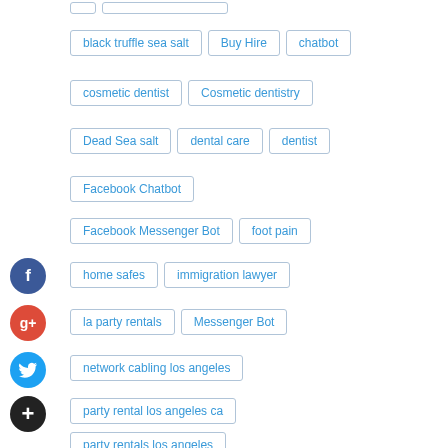black truffle sea salt
Buy Hire
chatbot
cosmetic dentist
Cosmetic dentistry
Dead Sea salt
dental care
dentist
Facebook Chatbot
Facebook Messenger Bot
foot pain
home safes
immigration lawyer
la party rentals
Messenger Bot
network cabling los angeles
party rental los angeles ca
party rentals los angeles